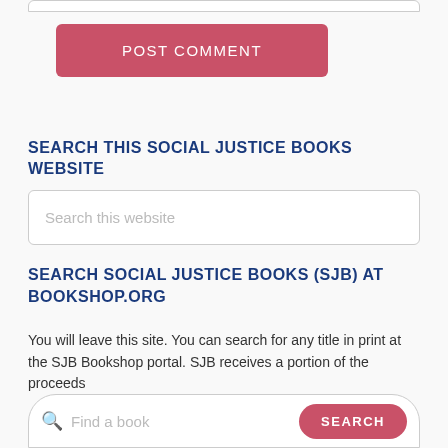[Figure (screenshot): POST COMMENT button, pink/red rounded rectangle with white uppercase text]
SEARCH THIS SOCIAL JUSTICE BOOKS WEBSITE
[Figure (screenshot): Search input box with placeholder text 'Search this website']
SEARCH SOCIAL JUSTICE BOOKS (SJB) AT BOOKSHOP.ORG
You will leave this site. You can search for any title in print at the SJB Bookshop portal. SJB receives a portion of the proceeds
[Figure (screenshot): Find a book search bar with magnifying glass icon and red SEARCH button]